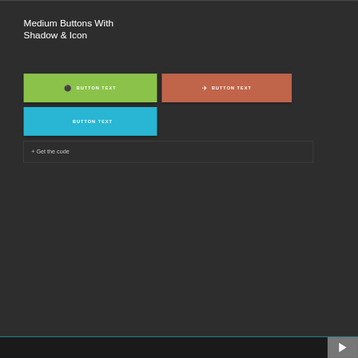Medium Buttons With Shadow & Icon
[Figure (screenshot): Three UI buttons with icons and text: a green button with headphone icon and 'BUTTON TEXT', an orange/red button with airplane icon and 'BUTTON TEXT', and a cyan/blue button with Apple icon and 'BUTTON TEXT']
+ Get the code